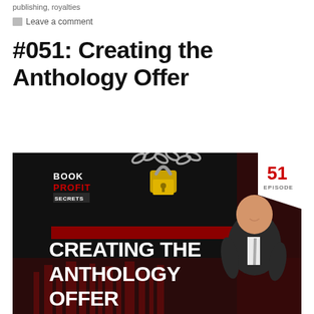publishing, royalties
Leave a comment
#051: Creating the Anthology Offer
[Figure (illustration): Book Profit Secrets podcast episode 51 thumbnail image with dark background, chain and padlock, text 'CREATING THE ANTHOLOGY OFFER' in large white bold font, a man in a dark suit on the right, red stripe element, '51 EPISODE' badge in top right corner.]